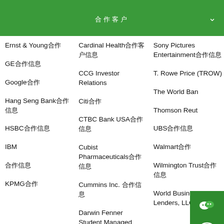合作客户 ∨
Ernst & Young合作
Cardinal Health合作客户信息
Sony Pictures Entertainment合作信息
GE合作信息
CCG Investor Relations
T. Rowe Price (TROW)
Google合作
Citi合作
The World Bank
Hang Seng Bank合作信息
CTBC Bank USA合作信息
Thomson Reuters
HSBC合作信息
Cubist Pharmaceuticals合作信息
UBS合作信息
IBM
Cummins Inc. 合作信息
Walmart合作
合作信息
Darwin Fenner Student Managed Fund
Wilmington Trust合作信息
KPMG合作
Deloitte & Touche LLP合作
World Business Lenders, LLC